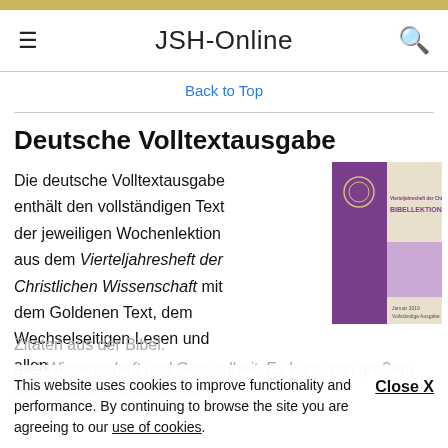JSH-Online
Back to Top
Deutsche Volltextausgabe
Die deutsche Volltextausgabe enthält den vollständigen Text der jeweiligen Wochenlektion aus dem Vierteljahresheft der Christlichen Wissenschaft mit dem Goldenen Text, dem Wechselseitigen Lesen und allen
[Figure (illustration): Book cover of Bibellektionen: Vierteljahresheft der Christlichen Wissenschaft, January 2019 Vollständige Ausgabe. Purple and beige cover design.]
Zitaten aus der Bibel.
und Wissenschaft und Gesundheit. Es kann von großem
direkt aus den Büchern zu
This website uses cookies to improve functionality and performance. By continuing to browse the site you are agreeing to our use of cookies.